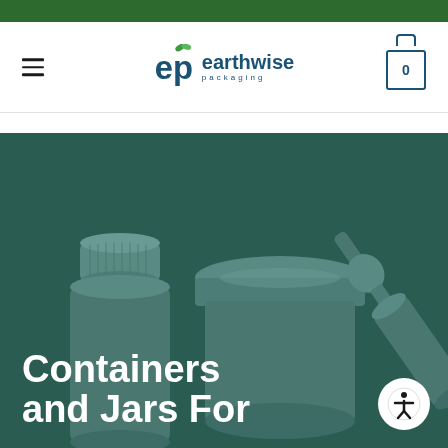[Figure (screenshot): Green top navigation bar strip]
[Figure (logo): Earthwise Packaging logo with hamburger menu on left and shopping cart icon showing 0 on right]
[Figure (illustration): Hero banner with dark teal background showing 3D rendered containers and jars (medicine bottle with lid, wide-mouth jar, and a dropper bottle), with large white text reading 'Containers and Jars For' and an accessibility icon button in bottom right corner]